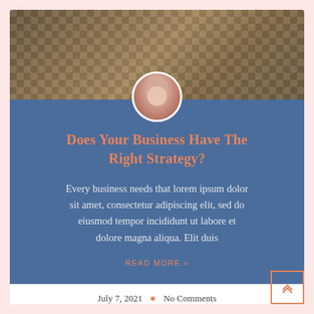[Figure (photo): Chess board with black and white chess pieces, photographed from above]
Does Your Business Have The Right Strategy?
Every business needs that lorem ipsum dolor sit amet, consectetur adipiscing elit, sed do eiusmod tempor incididunt ut labore et dolore magna aliqua. Elit duis
READ MORE »
July 7, 2021  •  No Comments